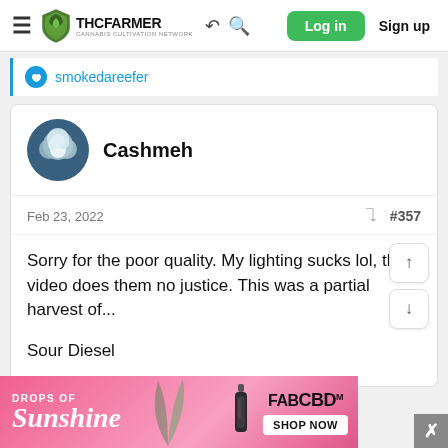THC FARMER | Cannabis Cultivation Network – navigation bar with Log in and Sign up buttons
smokedareefer
Cashmeh
Feb 23, 2022  #357
Sorry for the poor quality. My lighting sucks lol, this video does them no justice. This was a partial harvest of...

Sour Diesel
[Figure (screenshot): FAB CBD advertisement banner – 'DROPS OF Sunshine' with FABCBD SHOP NOW button]
DROPS OF Sunshine – FABCBD SHOP NOW